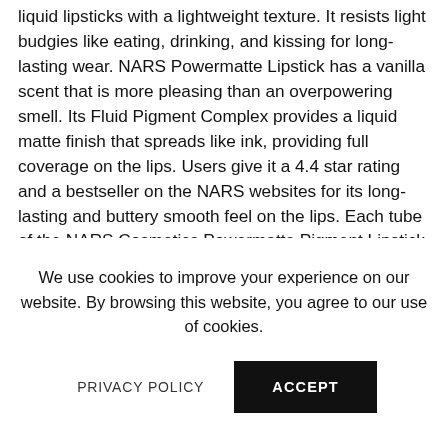liquid lipsticks with a lightweight texture. It resists light budgies like eating, drinking, and kissing for long-lasting wear. NARS Powermatte Lipstick has a vanilla scent that is more pleasing than an overpowering smell. Its Fluid Pigment Complex provides a liquid matte finish that spreads like ink, providing full coverage on the lips. Users give it a 4.4 star rating and a bestseller on the NARS websites for its long-lasting and buttery smooth feel on the lips. Each tube of the NARS Cosmetics Powermatte Pigment Lipstick sells for an average price of £23 GBP each.
We use cookies to improve your experience on our website. By browsing this website, you agree to our use of cookies.